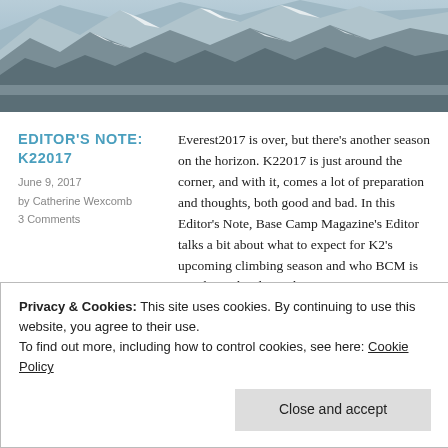[Figure (photo): Snow-covered mountain peaks with rocky crags, aerial/close-up view, blue-grey tones. Hero banner image.]
EDITOR'S NOTE: K22017
June 9, 2017
by Catherine Wexcomb
3 Comments
Everest2017 is over, but there's another season on the horizon. K22017 is just around the corner, and with it, comes a lot of preparation and thoughts, both good and bad. In this Editor's Note, Base Camp Magazine's Editor talks a bit about what to expect for K2's upcoming climbing season and who BCM is watching closely on the mountain.
For every mountaineering season, I have a pick of mountaineers, expedition companies, guides...
Privacy & Cookies: This site uses cookies. By continuing to use this website, you agree to their use.
To find out more, including how to control cookies, see here: Cookie Policy
Close and accept